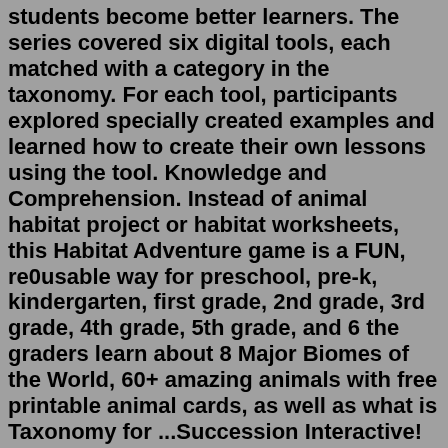students become better learners. The series covered six digital tools, each matched with a category in the taxonomy. For each tool, participants explored specially created examples and learned how to create their own lessons using the tool. Knowledge and Comprehension. Instead of animal habitat project or habitat worksheets, this Habitat Adventure game is a FUN, re0usable way for preschool, pre-k, kindergarten, first grade, 2nd grade, 3rd grade, 4th grade, 5th grade, and 6 the graders learn about 8 Major Biomes of the World, 60+ amazing animals with free printable animal cards, as well as what is Taxonomy for ...Succession Interactive! Topics Covered: Ecological succession, Primary succession, Secondary succession, abiotic and biotic factors, pioneer species, critical thinking, graph analysis, NGSS (Next Generation Science Standards), pheonomena. For NGSS, see LS2.C: Ecosystem Dynamics, Functioning, and Resilience specifically. ... Video computer games ...The work of Sawyer and Smith on various games' taxonomies [20, 21], under